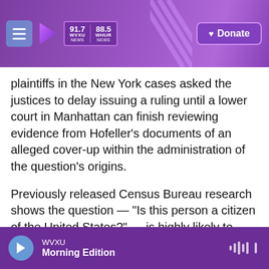WVXU NEWS 91.7 | WHUR NEWS 88.5 | Donate
plaintiffs in the New York cases asked the justices to delay issuing a ruling until a lower court in Manhattan can finish reviewing evidence from Hofeller's documents of an alleged cover-up within the administration of the question's origins.
Previously released Census Bureau research shows the question — "Is this person a citizen of the United States?" — is highly likely to deter households with noncitizens from participating in the constitutionally mandated head count of every person living in the country. That has sparked multiple lawsuits over the question by states, cities
WVXU
Morning Edition